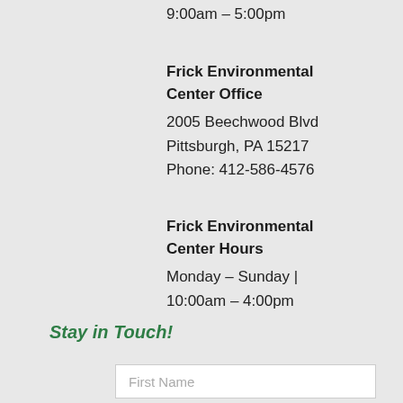9:00am – 5:00pm
Frick Environmental Center Office
2005 Beechwood Blvd
Pittsburgh, PA 15217
Phone: 412-586-4576
Frick Environmental Center Hours
Monday – Sunday | 10:00am – 4:00pm
Stay in Touch!
First Name